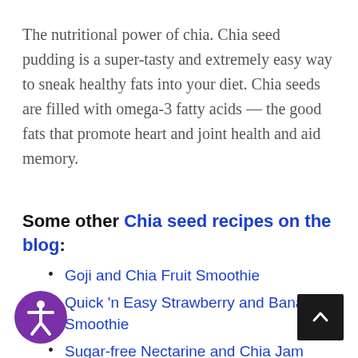The nutritional power of chia. Chia seed pudding is a super-tasty and extremely easy way to sneak healthy fats into your diet. Chia seeds are filled with omega-3 fatty acids — the good fats that promote heart and joint health and aid memory.
Some other Chia seed recipes on the blog:
Goji and Chia Fruit Smoothie
Quick 'n Easy Strawberry and Banana Smoothie
Sugar-free Nectarine and Chia Jam